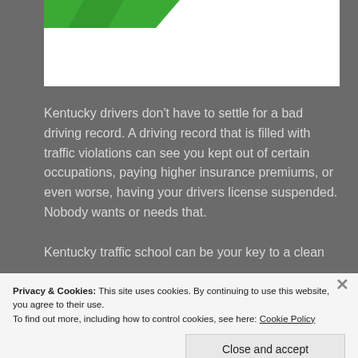[Figure (screenshot): Partial website screenshot showing a green logo/graphic at the top on a white background, partially cropped]
Kentucky drivers don't have to settle for a bad driving record. A driving record that is filled with traffic violations can see you kept out of certain occupations, paying higher insurance premiums, or even worse, having your drivers license suspended. Nobody wants or needs that. Kentucky traffic school can be your key to a clean
Privacy & Cookies: This site uses cookies. By continuing to use this website, you agree to their use.
To find out more, including how to control cookies, see here: Cookie Policy
Close and accept